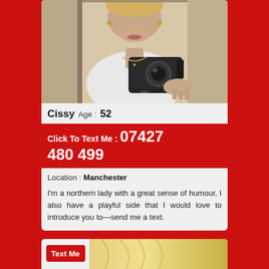[Figure (photo): Mirror selfie photo of a woman holding a camera, wearing a white top, with earrings and necklace visible]
Cissy  Age : 52
Click To Text Me : 07427 480 499
Location : Manchester
I'm a northern lady with a great sense of humour, I also have a playful side that I would love to introduce you to—send me a text.
[Figure (photo): Partial photo of blonde woman, with a red 'Text Me' button overlay]